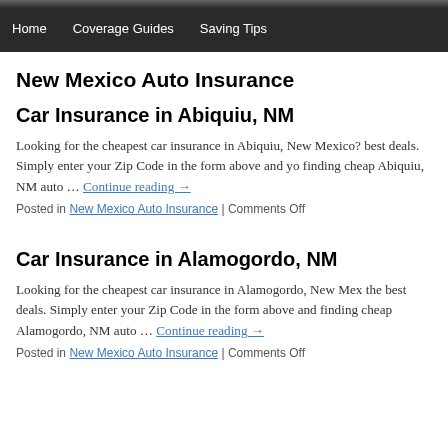Home | Coverage Guides | Saving Tips
New Mexico Auto Insurance
Car Insurance in Abiquiu, NM
Looking for the cheapest car insurance in Abiquiu, New Mexico? best deals. Simply enter your Zip Code in the form above and you finding cheap Abiquiu, NM auto … Continue reading →
Posted in New Mexico Auto Insurance | Comments Off
Car Insurance in Alamogordo, NM
Looking for the cheapest car insurance in Alamogordo, New Mexico the best deals. Simply enter your Zip Code in the form above and finding cheap Alamogordo, NM auto … Continue reading →
Posted in New Mexico Auto Insurance | Comments Off